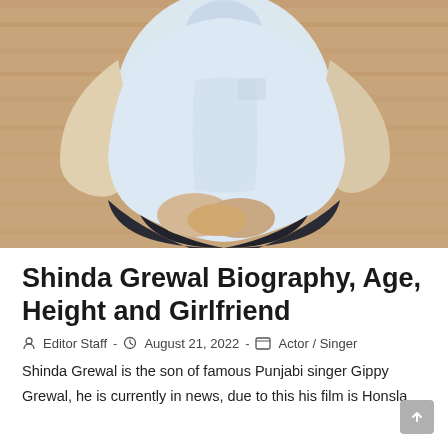[Figure (photo): Photo of Shinda Grewal — a young man in a light blue/white t-shirt and dark trousers, sitting cross-legged against a wooden background, hands clasped in lap. Face not visible, upper torso and arms shown.]
Shinda Grewal Biography, Age, Height and Girlfriend
Editor Staff  -  August 21, 2022  -  Actor / Singer
Shinda Grewal is the son of famous Punjabi singer Gippy Grewal, he is currently in news, due to this his film is Honsla